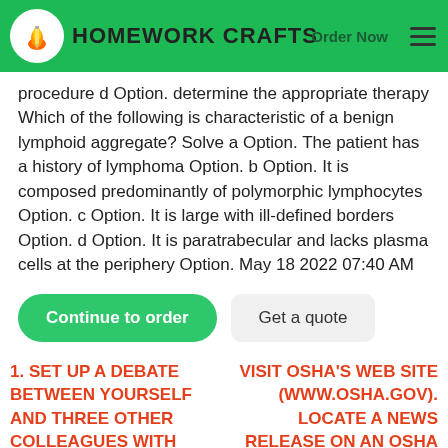HOMEWORK CRAFTS | Order Now
procedure d Option. determine the appropriate therapy Which of the following is characteristic of a benign lymphoid aggregate? Solve a Option. The patient has a history of lymphoma Option. b Option. It is composed predominantly of polymorphic lymphocytes Option. c Option. It is large with ill-defined borders Option. d Option. It is paratrabecular and lacks plasma cells at the periphery Option. May 18 2022 07:40 AM
Continue to order | Get a quote
1. SET UP A DEBATE BETWEEN YOURSELF AND THREE OTHER COLLEAGUES WITH TWO OF YOU ARGUING IN FAVOUR OF.
VISIT OSHA'S WEB SITE (WWW.OSHA.GOV). LOCATE A NEWS RELEASE ON AN OSHA ACTIVITY. PROVIDE A TWO- TO..